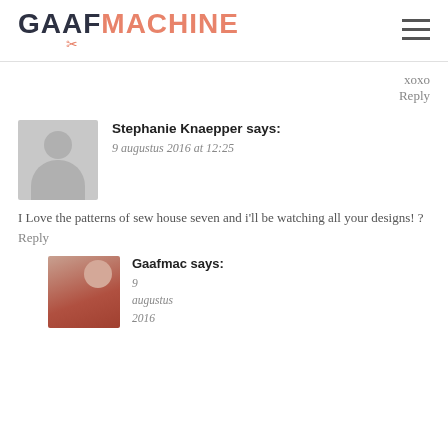GAAF MACHINE
xoxo
Reply
Stephanie Knaepper says:
9 augustus 2016 at 12:25
I Love the patterns of sew house seven and i'll be watching all your designs! ?
Reply
[Figure (photo): Profile photo of Gaafmachine author, woman in red top, side profile]
Gaafmac says:
9 augustus 2016